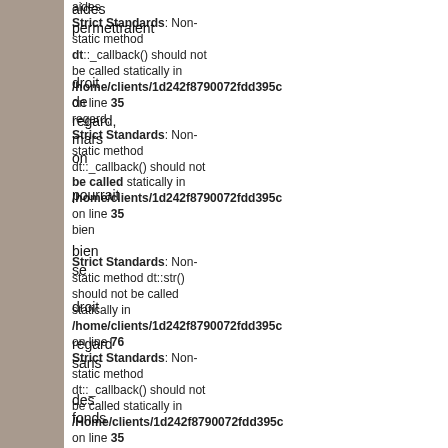aides permettraient dt. droit de regard, mais on pourrait bien se faire droit regard sans des fonds qui manquent cruellement
Strict Standards: Non-static method dt::_callback() should not be called statically in /home/clients/1d242f8790072fdd395c on line 35
Strict Standards: Non-static method dt::_callback() should not be called statically in /home/clients/1d242f8790072fdd395c on line 35
Strict Standards: Non-static method dt::str() should not be called statically in /home/clients/1d242f8790072fdd395c on line 76
Strict Standards: Non-static method dt::_callback() should not be called statically in /Home/clients/1d242f8790072fdd395c on line 35
Strict Standards: Non-static method dt::_callback() should not be called statically in ...